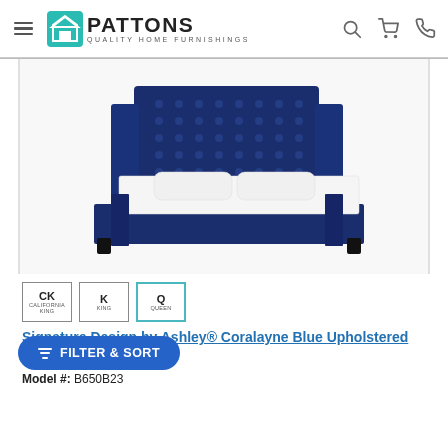Pattons Quality Home Furnishings
[Figure (photo): A navy blue upholstered queen bed with a tall tufted wingback headboard, white bedding, and dark legs. Shown at an angle on a white background.]
CK California King
K King
Q Queen (selected)
Signature Design by Ashley® Coralayne Blue Upholstered Bed
Model #: B650B23